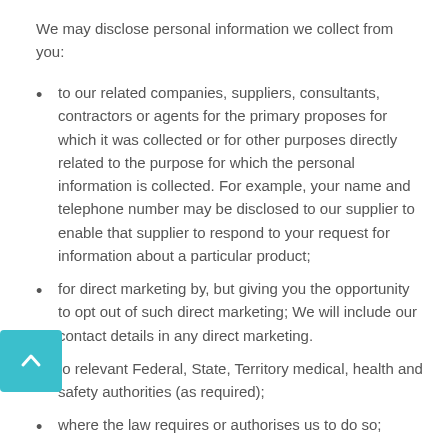We may disclose personal information we collect from you:
to our related companies, suppliers, consultants, contractors or agents for the primary proposes for which it was collected or for other purposes directly related to the purpose for which the personal information is collected. For example, your name and telephone number may be disclosed to our supplier to enable that supplier to respond to your request for information about a particular product;
for direct marketing by, but giving you the opportunity to opt out of such direct marketing; We will include our contact details in any direct marketing.
to relevant Federal, State, Territory medical, health and safety authorities (as required);
where the law requires or authorises us to do so;
to others that you have been informed of at the time any personal information is collected from